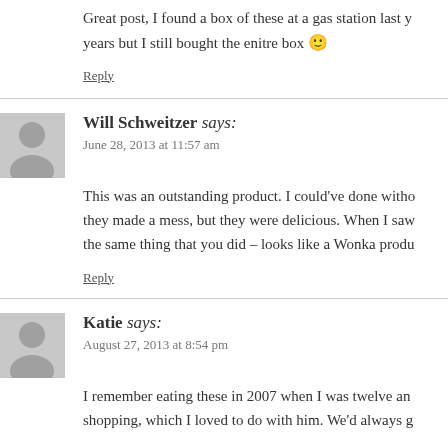Great post, I found a box of these at a gas station last y… years but I still bought the enitre box 🙂
Reply
Will Schweitzer says: June 28, 2013 at 11:57 am
This was an outstanding product. I could've done witho… they made a mess, but they were delicious. When I saw… the same thing that you did – looks like a Wonka produ…
Reply
Katie says: August 27, 2013 at 8:54 pm
I remember eating these in 2007 when I was twelve an… shopping, which I loved to do with him. We'd always g…